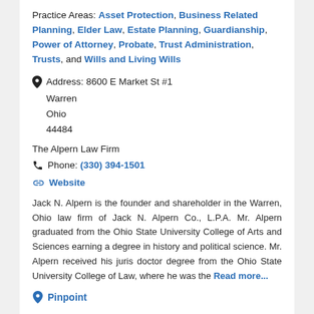Practice Areas: Asset Protection, Business Related Planning, Elder Law, Estate Planning, Guardianship, Power of Attorney, Probate, Trust Administration, Trusts, and Wills and Living Wills
Address: 8600 E Market St #1
Warren
Ohio
44484
The Alpern Law Firm
Phone: (330) 394-1501
Website
Jack N. Alpern is the founder and shareholder in the Warren, Ohio law firm of Jack N. Alpern Co., L.P.A. Mr. Alpern graduated from the Ohio State University College of Arts and Sciences earning a degree in history and political science. Mr. Alpern received his juris doctor degree from the Ohio State University College of Law, where he was the Read more...
Pinpoint